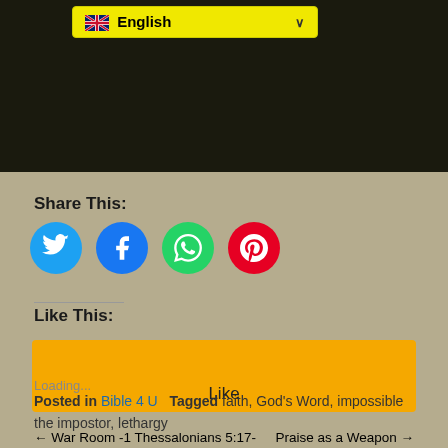[Figure (screenshot): Top dark image area with yellow English language selector dropdown showing flag and chevron]
Share This:
[Figure (infographic): Social media share buttons: Twitter (blue), Facebook (blue), WhatsApp (green), Pinterest (red) as circular icons]
Like This:
[Figure (screenshot): Yellow Like button with Loading... text below]
Loading...
Posted in Bible 4 U   Tagged faith, God's Word, impossible the impostor, lethargy
← War Room -1 Thessalonians 5:17-    Praise as a Weapon →